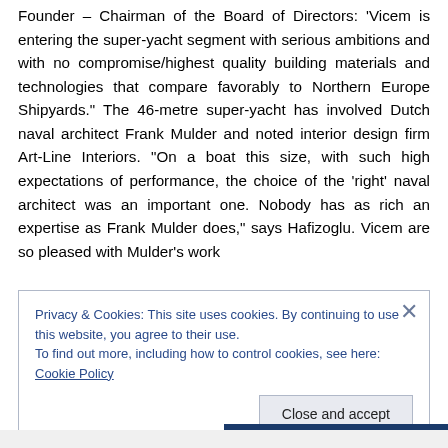Founder – Chairman of the Board of Directors: 'Vicem is entering the super-yacht segment with serious ambitions and with no compromise/highest quality building materials and technologies that compare favorably to Northern Europe Shipyards.' The 46-metre super-yacht has involved Dutch naval architect Frank Mulder and noted interior design firm Art-Line Interiors. 'On a boat this size, with such high expectations of performance, the choice of the 'right' naval architect was an important one. Nobody has as rich an expertise as Frank Mulder does,' says Hafizoglu. Vicem are so pleased with Mulder's work
Privacy & Cookies: This site uses cookies. By continuing to use this website, you agree to their use.
To find out more, including how to control cookies, see here: Cookie Policy
Close and accept